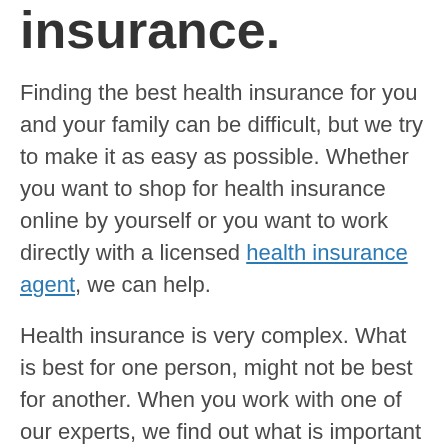insurance.
Finding the best health insurance for you and your family can be difficult, but we try to make it as easy as possible. Whether you want to shop for health insurance online by yourself or you want to work directly with a licensed health insurance agent, we can help.
Health insurance is very complex. What is best for one person, might not be best for another. When you work with one of our experts, we find out what is important to you, search through all your options, and recommend the best health insurance for